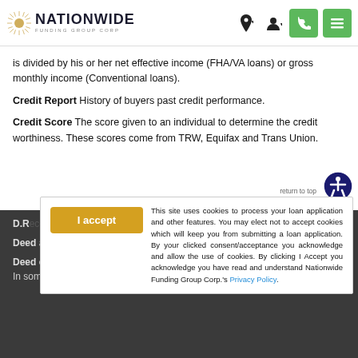[Figure (logo): Nationwide Funding Group Corp logo with sun/starburst graphic and navigation bar with location pin, user, phone, and menu icons]
is divided by his or her net effective income (FHA/VA loans) or gross monthly income (Conventional loans).
Credit Report History of buyers past credit performance.
Credit Score The score given to an individual to determine the credit worthiness. These scores come from TRW, Equifax and Trans Union.
D.R... a customer's monthly obligations divided by their...
Deed... a legal document which... Nationwide... Property...
Deed of Trust A document used which pledges real property to secure a debt. In some cases a deed of trust can replace a mortgage.
This site uses cookies to process your loan application and other features. You may elect not to accept cookies which will keep you from submitting a loan application. By your clicked consent/acceptance you acknowledge and allow the use of cookies. By clicking I Accept you acknowledge you have read and understand Nationwide Funding Group Corp.'s Privacy Policy.